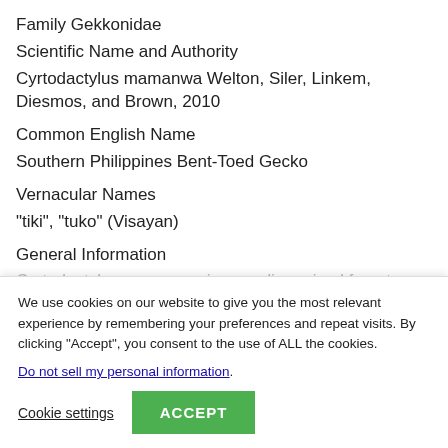Family Gekkonidae
Scientific Name and Authority
Cyrtodactylus mamanwa Welton, Siler, Linkem, Diesmos, and Brown, 2010
Common English Name
Southern Philippines Bent-Toed Gecko
Vernacular Names
“tiki”, “tuko” (Visayan)
General Information
Cyrtodactylus mamanwa is a medium-sized forest
We use cookies on our website to give you the most relevant experience by remembering your preferences and repeat visits. By clicking “Accept”, you consent to the use of ALL the cookies.
Do not sell my personal information.